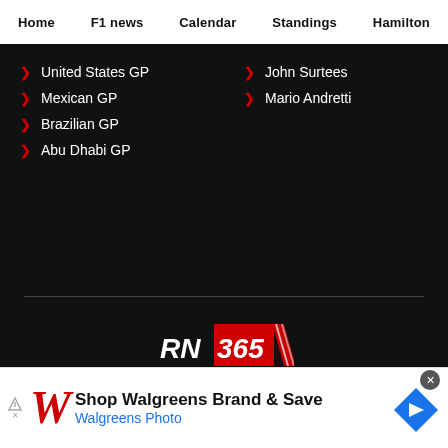Home | F1 news | Calendar | Standings | Hamilton
United States GP
Mexican GP
Brazilian GP
Abu Dhabi GP
John Surtees
Mario Andretti
[Figure (logo): RN 365 logo with red background and racing stripe]
Editorial team | Disclaimer | Terms and conditions | Privacy Policy | Contact | Privacy manager
[Figure (other): Walgreens advertisement: Shop Walgreens Brand & Save - Walgreens Photo]